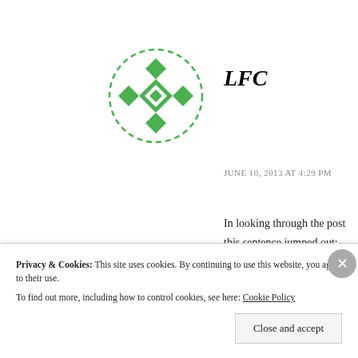[Figure (logo): Green decorative logo icon with diamond/cross pattern inside a dashed circle border]
LFC
JUNE 10, 2013 AT 4:29 PM
In looking through the post this sentence jumped out: “Mastery narratives are infused in many of the students’ desires.”
This, I take it, is supposed to be bad. Unfortunately, I have very
Privacy & Cookies: This site uses cookies. By continuing to use this website, you agree to their use.
To find out more, including how to control cookies, see here: Cookie Policy
Close and accept